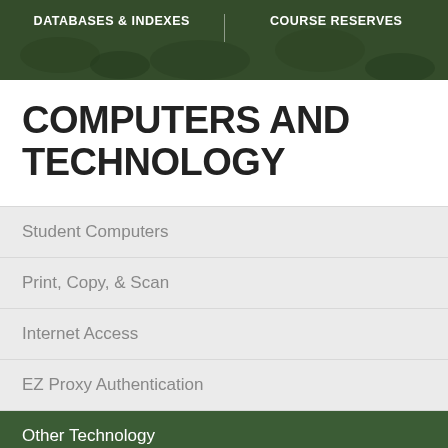[Figure (screenshot): Library website header with dark green background and navigation buttons for DATABASES & INDEXES and COURSE RESERVES]
COMPUTERS AND TECHNOLOGY
Student Computers
Print, Copy, & Scan
Internet Access
EZ Proxy Authentication
Other Technology
Help